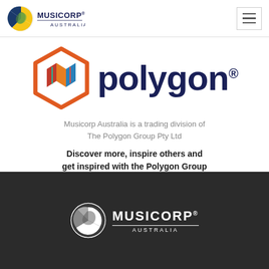MUSICORP AUSTRALIA
[Figure (logo): Polygon brand logo with hexagonal geometric icon in red, orange, blue, teal colors and dark blue 'polygon' wordmark with registered trademark symbol]
Musicorp Australia is a trading division of The Polygon Group Pty Ltd
Discover more, inspire others and get inspired with the Polygon Group
See All Websites
[Figure (logo): Musicorp Australia white logo on dark background with circular leaf/music note icon and MUSICORP AUSTRALIA text]